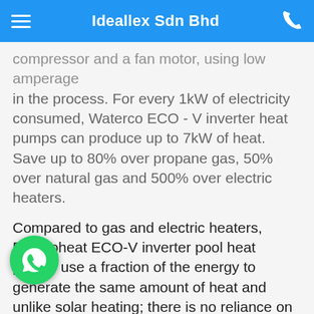Ideallex Sdn Bhd
compressor and a fan motor, using low amperage in the process. For every 1kW of electricity consumed, Waterco ECO - V inverter heat pumps can produce up to 7kW of heat. Save up to 80% over propane gas, 50% over natural gas and 500% over electric heaters.
Compared to gas and electric heaters, Electroheat ECO-V inverter pool heat pumps use a fraction of the energy to generate the same amount of heat and unlike solar heating; there is no reliance on the sun as the latent heat in the air is used.
ENERGY EFFICIENT HEATING WITH INVERTER TECHNOLOGY
Electroheat ECO-V inverter pool heat pumps utilise a variable speed compressor to regulate the pool water temperature automatically and